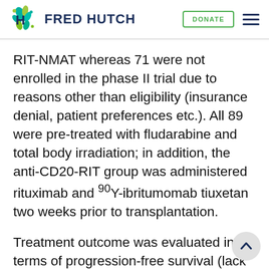FRED HUTCH
RIT-NMAT whereas 71 were not enrolled in the phase II trial due to reasons other than eligibility (insurance denial, patient preferences etc.). All 89 were pre-treated with fludarabine and total body irradiation; in addition, the anti-CD20-RIT group was administered rituximab and 90Y-ibritumomab tiuxetan two weeks prior to transplantation.
Treatment outcome was evaluated in terms of progression-free survival (lack of relapse, progression or death from any cause), overall survival and nonrelapse mortality, with a median follow-up of 6.8 years for the entire cohort. In general, the RIT-treated patients showed more